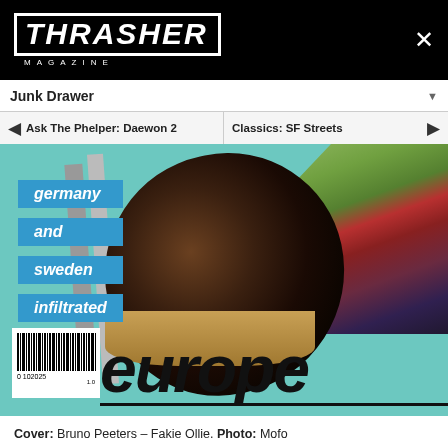THRASHER MAGAZINE
Junk Drawer
← Ask The Phelper: Daewon 2   Classics: SF Streets →
[Figure (photo): Thrasher Magazine cover showing a skateboarder doing a Fakie Ollie, with blue banner text reading 'germany and sweden infiltrated' and 'europe' in large letters at the bottom. Barcode visible in lower left.]
Cover: Bruno Peeters – Fakie Ollie. Photo: Mofo